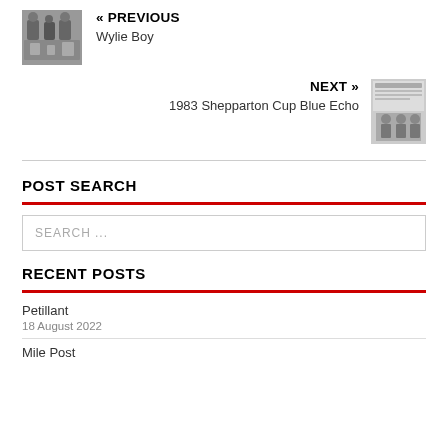[Figure (photo): Small black and white thumbnail photo of people]
« PREVIOUS
Wylie Boy
NEXT »
1983 Shepparton Cup Blue Echo
[Figure (photo): Small black and white thumbnail of newspaper clipping]
POST SEARCH
SEARCH ...
RECENT POSTS
Petillant
18 August 2022
Mile Post